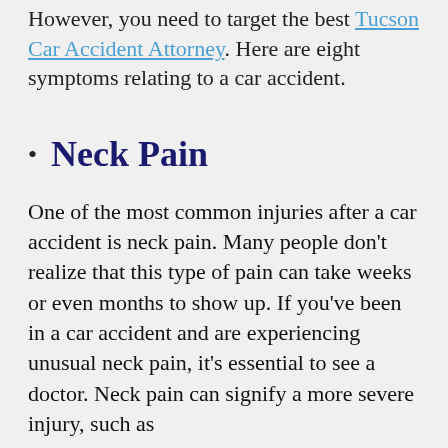However, you need to target the best Tucson Car Accident Attorney. Here are eight symptoms relating to a car accident.
Neck Pain
One of the most common injuries after a car accident is neck pain. Many people don't realize that this type of pain can take weeks or even months to show up. If you've been in a car accident and are experiencing unusual neck pain, it's essential to see a doctor. Neck pain can signify a more severe injury, such as whiplash.